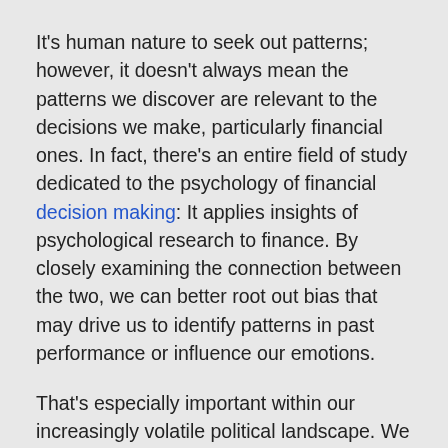It's human nature to seek out patterns; however, it doesn't always mean the patterns we discover are relevant to the decisions we make, particularly financial ones. In fact, there's an entire field of study dedicated to the psychology of financial decision making: It applies insights of psychological research to finance. By closely examining the connection between the two, we can better root out bias that may drive us to identify patterns in past performance or influence our emotions.
That's especially important within our increasingly volatile political landscape. We may make emotional investment decisions based on predictions for the election or Trump's tweets. It is truly difficult to separate financial decisions from the political circus in order to keep calm and stay smartly invested.
“In and of itself, the president doesn’t wield the sword